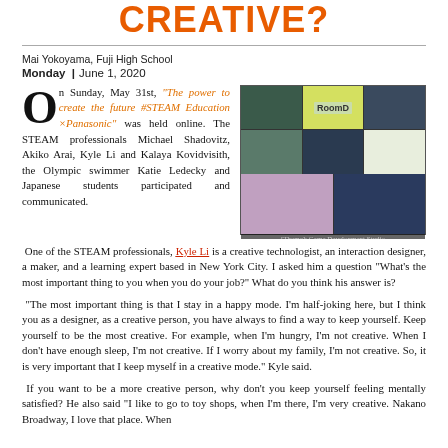CREATIVE?
Mai Yokoyama, Fuji High School
Monday | June 1, 2020
On Sunday, May 31st, "The power to create the future #STEAM Education ×Panasonic" was held online. The STEAM professionals Michael Shadovitz, Akiko Arai, Kyle Li and Kalaya Kovidvisith, the Olympic swimmer Katie Ledecky and Japanese students participated and communicated.
[Figure (screenshot): Screenshot of a video call with multiple participants in a grid layout. One cell shows a green label reading 'RoomD'. Bottom row shows two participants. Caption reads '[Theme]: Game Development Studio'.]
One of the STEAM professionals, Kyle Li is a creative technologist, an interaction designer, a maker, and a learning expert based in New York City. I asked him a question "What's the most important thing to you when you do your job?" What do you think his answer is?
“The most important thing is that I stay in a happy mode. I’m half-joking here, but I think you as a designer, as a creative person, you have always to find a way to keep yourself. Keep yourself to be the most creative. For example, when I’m hungry, I’m not creative. When I don’t have enough sleep, I’m not creative. If I worry about my family, I’m not creative. So, it is very important that I keep myself in a creative mode.” Kyle said.
If you want to be a more creative person, why don’t you keep yourself feeling mentally satisfied? He also said “I like to go to toy shops, when I’m there, I’m very creative. Nakano Broadway, I love that place. When